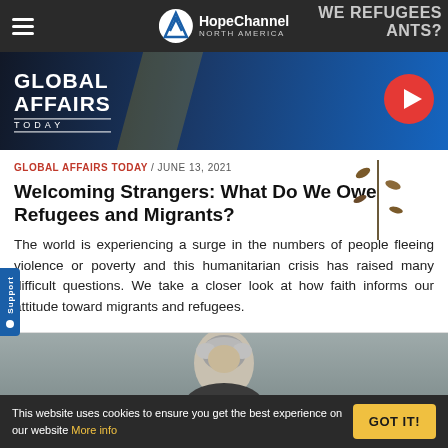HopeChannel NORTH AMERICA — WE REFUGEES WHAT DO WE OWE MIGRANTS?
[Figure (screenshot): Global Affairs Today video thumbnail with blue background, show title text and red play button circle on the right]
GLOBAL AFFAIRS TODAY / JUNE 13, 2021
Welcoming Strangers: What Do We Owe Refugees and Migrants?
The world is experiencing a surge in the numbers of people fleeing violence or poverty and this humanitarian crisis has raised many difficult questions. We take a closer look at how faith informs our attitude toward migrants and refugees.
[Figure (photo): Partial photo of a person with grey hair, cropped at the bottom of the page]
This website uses cookies to ensure you get the best experience on our website More info   GOT IT!